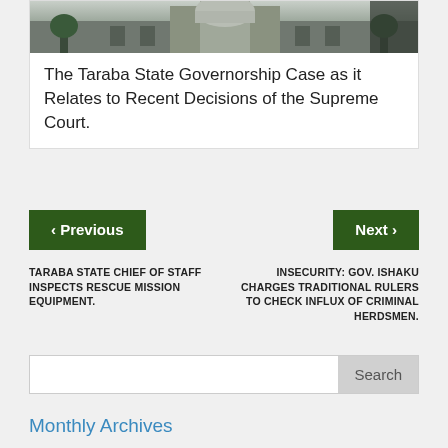[Figure (photo): Exterior building photo showing a government or court building with trees]
The Taraba State Governorship Case as it Relates to Recent Decisions of the Supreme Court.
‹ Previous
Next ›
TARABA STATE CHIEF OF STAFF INSPECTS RESCUE MISSION EQUIPMENT.
INSECURITY: GOV. ISHAKU CHARGES TRADITIONAL RULERS TO CHECK INFLUX OF CRIMINAL HERDSMEN.
Monthly Archives